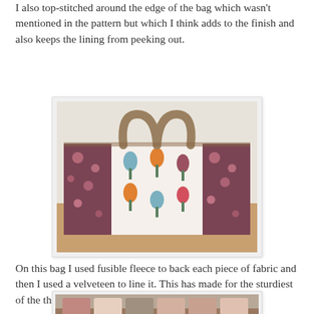I also top-stitched around the edge of the bag which wasn't mentioned in the pattern but which I think adds to the finish and also keeps the lining from peeking out.
[Figure (photo): A handmade tote bag with a floral pattern fabric on the sides and a Scandinavian-style tulip print on the front, sitting on a wooden surface.]
On this bag I used fusible fleece to back each piece of fabric and then I used a velveteen to line it. This has made for the sturdiest of the three bags.
[Figure (photo): Partial view of another handmade bag or crafted item at the bottom of the page.]